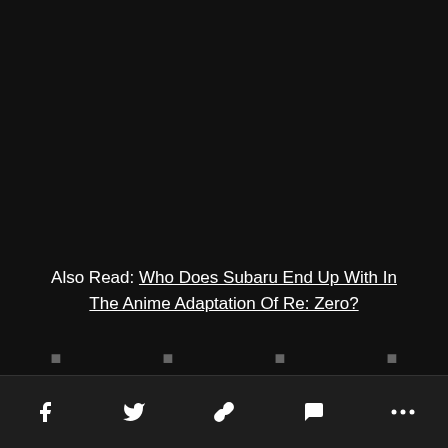Also Read: Who Does Subaru End Up With In The Anime Adaptation Of Re: Zero?
[Figure (other): Bottom navigation toolbar with social sharing icons: Facebook, Twitter, link/chain, comment/speech bubble, and more (ellipsis)]